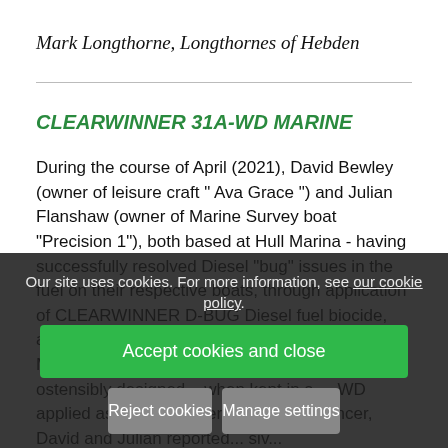Mark Longthorne, Longthornes of Hebden
CLEARWINNER 31A-WD MARINE
During the course of April (2021), David Bewley (owner of leisure craft " Ava Grace ") and Julian Flanshaw (owner of Marine Survey boat "Precision 1"), both based at Hull Marina - having successfully resolved Diesel "bug" issues in the fuel on their respective boats, through application of CLEARWINNER D-BUG Diesel fuel biocide, and then applying CLEARWINNER 31A-WD MARINE to their fuel tanks. This product is ostensibly designed... when kept in s... -WD applied as an engine performance enhancer, David and Julian reported... siv...
Our site uses cookies. For more information, see our cookie policy.
Accept cookies and close
Reject cookies
Manage settings